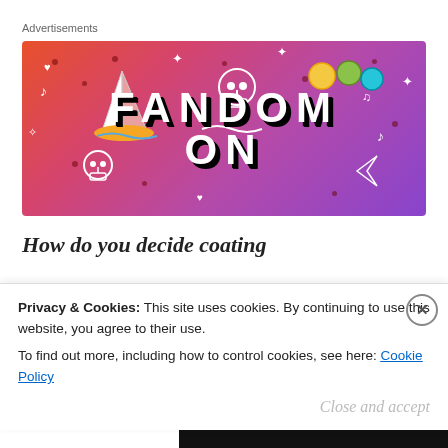Advertisements
[Figure (illustration): Fandom On advertisement banner with gradient background (orange to purple), featuring large bold text 'FANDOM ON', a sailboat illustration, skull icons, dice, and decorative doodles.]
How do you decide coating
Privacy & Cookies: This site uses cookies. By continuing to use this website, you agree to their use.
To find out more, including how to control cookies, see here: Cookie Policy
Close and accept